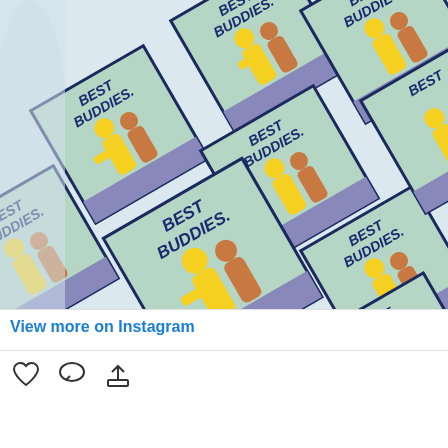[Figure (photo): Instagram post showing repeated Best Buddies logos on white fabric/paper. The logo features two figures (yellow and brown/orange) in the Keith Haring style, inside a teal/mint bordered box with 'BEST BUDDIES' text at top in navy italic letters and a purple/blue dotted bottom bar. Multiple logos are arranged in a diagonal tiled pattern.]
View more on Instagram
[Figure (infographic): Instagram action icons: heart (like), speech bubble (comment), and share/upload arrow icons at the bottom of the post]